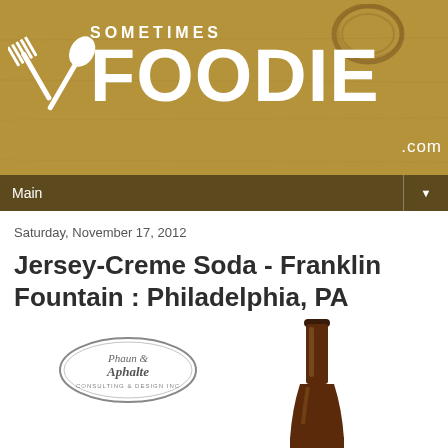[Figure (logo): Sometimes Foodie .com logo with crossed fork and spoon icon on aged brown paper background with coffee stain rings]
Main
Saturday, November 17, 2012
Jersey-Creme Soda - Franklin Fountain : Philadelphia, PA
[Figure (photo): Photo of a brown glass bottle (neck and top visible) alongside a photographer/studio watermark logo (Phaun & Aphalte consulting & design inc ellipse logo)]